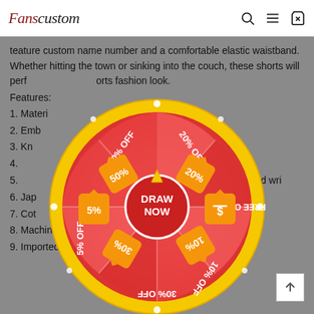Fanscustom
teature custom name number and a comfortable elastic waistband. Whether hitting the town or sinking into the couch, these shorts will perf…orts fashion look.
Features:
1. Materi…
2. Emb…
3. Kn… polyester mes…
4. …y to fall off…
5. …ing pro…ity and wri…
6. Jap…
7. Cot…
8. Machin… recommended…
9. Imported
[Figure (infographic): A spin-the-wheel prize wheel with red and pink segments on a yellow circular border. Segments show: 50% OFF, 20% OFF, FREE ORDER, 10% OFF, 30% OFF, 5% OFF. Center button says DRAW NOW. A yellow arrow pointer at the top center.]